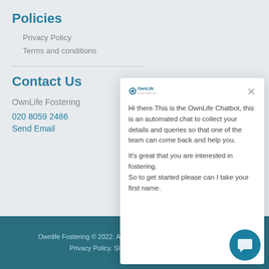Policies
Privacy Policy
Terms and conditions
Contact Us
OwnLife Fostering
020 8059 2486
Send Email
[Figure (screenshot): OwnLife Chatbot popup overlay showing greeting message with logo and close button]
Ownlife Fostering © 2022. All Rights Reserved Terms and Conditions Privacy Policy. Site by Smart Cow Marketing